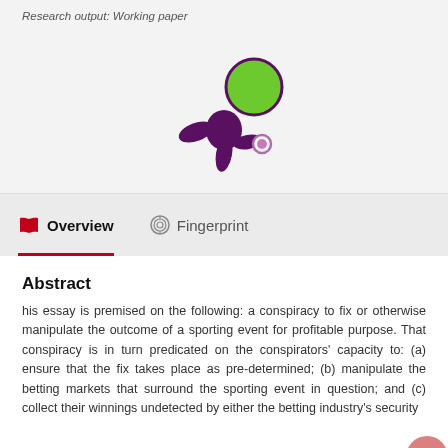Research output: Working paper
[Figure (logo): Altmetric donut-style logo: purple splash shape with a large green filled circle and a small pink/violet circle]
Overview   Fingerprint
Abstract
his essay is premised on the following: a conspiracy to fix or otherwise manipulate the outcome of a sporting event for profitable purpose. That conspiracy is in turn predicated on the conspirators' capacity to: (a) ensure that the fix takes place as pre-determined; (b) manipulate the betting markets that surround the sporting event in question; and (c) collect their winnings undetected by either the betting industry's security